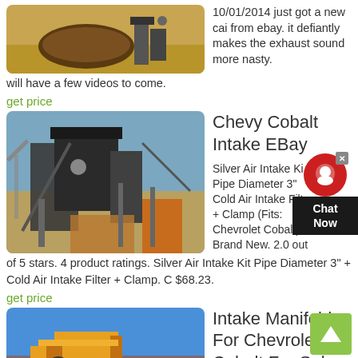[Figure (photo): Outdoor scene with dirt mound and machinery on sandy ground]
10/01/2014 just got a new cai from ebay. it defiantly makes the exhaust sound more nasty. will have a few videos to come.
get price
[Figure (photo): Industrial mining/crushing equipment with steel framework and conveyor belts, workers visible]
Chevy Cobalt Intake EBay
Silver Air Intake Kit Pipe Diameter 3" Cold Air Intake Filter + Clamp (Fits: Chevrolet Cobalt) Brand New. 2.0 out of 5 stars. 4 product ratings. Silver Air Intake Kit Pipe Diameter 3" + Cold Air Intake Filter + Clamp. C $68.23.
get price
[Figure (photo): Yellow heavy construction equipment against blue sky]
Intake Manifolds For Chevrolet Cobalt For Sale